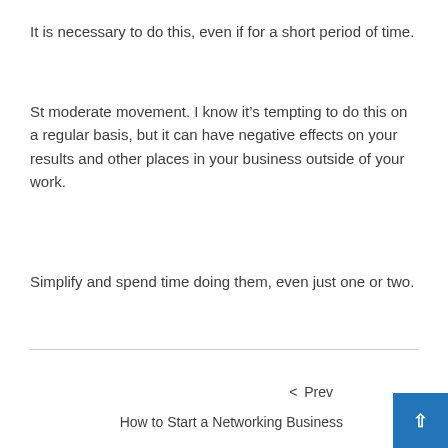It is necessary to do this, even if for a short period of time.
St moderate movement. I know it’s tempting to do this on a regular basis, but it can have negative effects on your results and other places in your business outside of your work.
Simplify and spend time doing them, even just one or two.
< Prev
How to Start a Networking Business